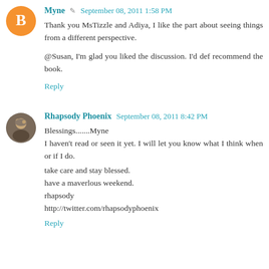Myne · September 08, 2011 1:58 PM
Thank you MsTizzle and Adiya, I like the part about seeing things from a different perspective.

@Susan, I'm glad you liked the discussion. I'd def recommend the book.

Reply
Rhapsody Phoenix · September 08, 2011 8:42 PM
Blessings.......Myne
I haven't read or seen it yet. I will let you know what I think when or if I do.

take care and stay blessed.
have a maverlous weekend.
rhapsody
http://twitter.com/rhapsodyphoenix

Reply